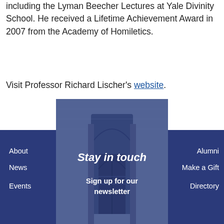including the Lyman Beecher Lectures at Yale Divinity School. He received a Lifetime Achievement Award in 2007 from the Academy of Homiletics.
Visit Professor Richard Lischer's website.
[Figure (photo): Gothic chapel building with blue tinted overlay, used as footer background image]
Stay in touch
Sign up for our newsletter
About
News
Events
Alumni
Make a Gift
Directory